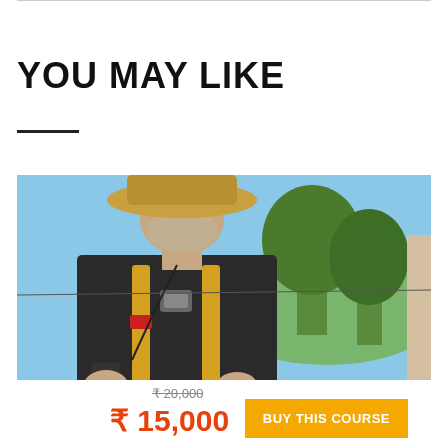YOU MAY LIKE
[Figure (photo): Man wearing a wide-brimmed hat and yellow/tan backpack straps over a dark long-sleeve shirt, outdoors with trees and blue sky in background]
₹ 20,000
₹ 15,000
BUY THIS COURSE